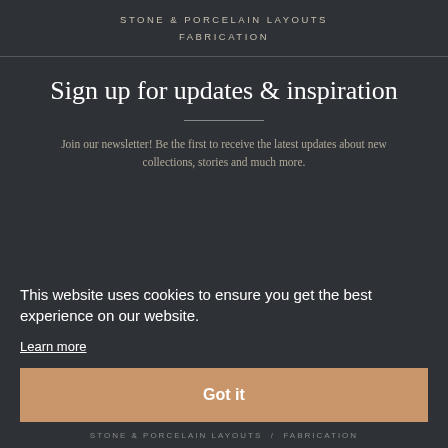STONE & PORCELAIN LAYOUTS
FABRICATION
Sign up for updates & inspiration
Join our newsletter! Be the first to receive the latest updates about new collections, stories and much more.
This website uses cookies to ensure you get the best experience on our website.
Learn more
Got it
STONE & PORCELAIN LAYOUTS / FABRICATION